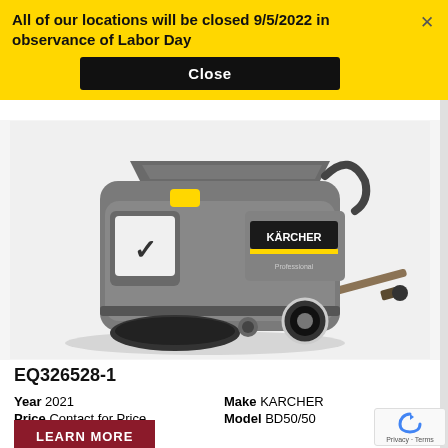All of our locations will be closed 9/5/2022 in observance of Labor Day
Close
[Figure (photo): Karcher BD50/50 professional floor scrubber machine in gray color with yellow accents, Karcher Professional branding visible on side, showing brush head, wheels, and squeegee attachment]
EQ326528-1
Year 2021  Make KARCHER
Price Contact for Price  Model BD50/50
LEARN MORE